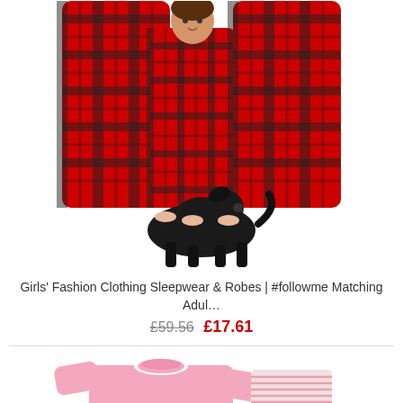[Figure (photo): Family wearing matching red and black plaid flannel pajamas / onesies, with a black Labrador dog also wearing plaid. White background product photo.]
Girls' Fashion Clothing Sleepwear & Robes | #followme Matching Adul...
£59.56  £17.61
[Figure (photo): Pink long-sleeve sweatshirt and striped pajama bottoms product photo on white background.]